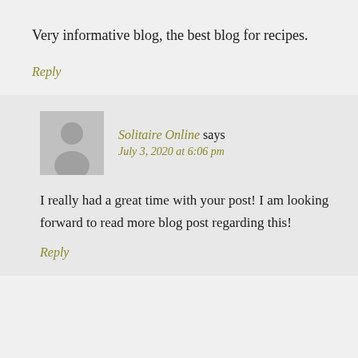Very informative blog, the best blog for recipes.
Reply
Solitaire Online says
July 3, 2020 at 6:06 pm
I really had a great time with your post! I am looking forward to read more blog post regarding this!
Reply